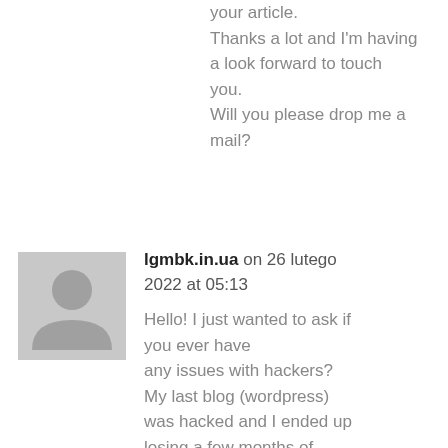your article.
Thanks a lot and I'm having a look forward to touch you.
Will you please drop me a mail?
lgmbk.in.ua on 26 lutego 2022 at 05:13
[Figure (illustration): Generic user avatar: grey square with silhouette of a person (head circle and shoulders arc) in lighter grey]
Hello! I just wanted to ask if you ever have any issues with hackers? My last blog (wordpress) was hacked and I ended up losing a few months of hard work due to no back up. Do you have any solutions